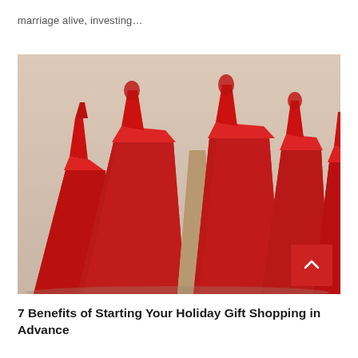marriage alive, investing…
[Figure (photo): Several red shopping bags with red ribbon handles arranged together on a beige background]
7 Benefits of Starting Your Holiday Gift Shopping in Advance